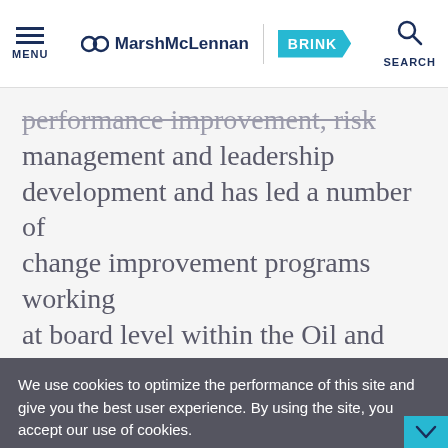MENU | MarshMcLennan BRINK | SEARCH
performance improvement, risk management and leadership development and has led a number of change improvement programs working at board level within the Oil and Gas, Utilities and Financial Services sectors.
We use cookies to optimize the performance of this site and give you the best user experience. By using the site, you accept our use of cookies.
Okay
Manage Cookies